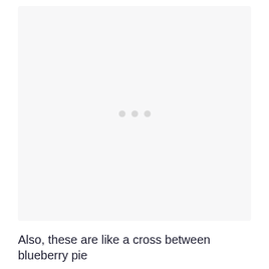[Figure (photo): A large light grey placeholder image area with three small light grey dots centered in the middle, indicating a loading or placeholder state for an image.]
Also, these are like a cross between blueberry pie